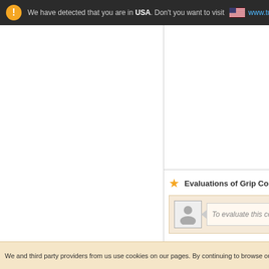We have detected that you are in USA. Don't you want to visit www.tuugo.
Evaluations of Grip Commun
To evaluate this co
We and third party providers from us use cookies on our pages. By continuing to browse our